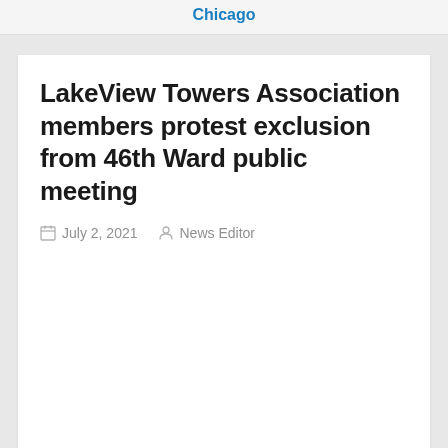Chicago
LakeView Towers Association members protest exclusion from 46th Ward public meeting
July 2, 2021  News Editor